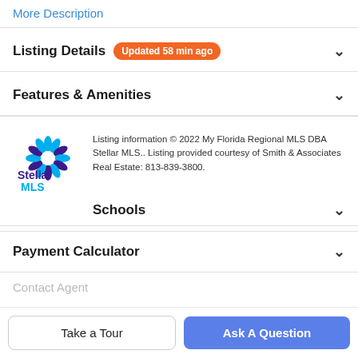More Description
Listing Details Updated 58 min ago
Features & Amenities
[Figure (logo): Stellar MLS logo — star/snowflake shape in teal and purple, with 'Stellar MLS' text below]
Listing information © 2022 My Florida Regional MLS DBA Stellar MLS.. Listing provided courtesy of Smith & Associates Real Estate: 813-839-3800.
Schools
Payment Calculator
Contact Agent
Take a Tour
Ask A Question